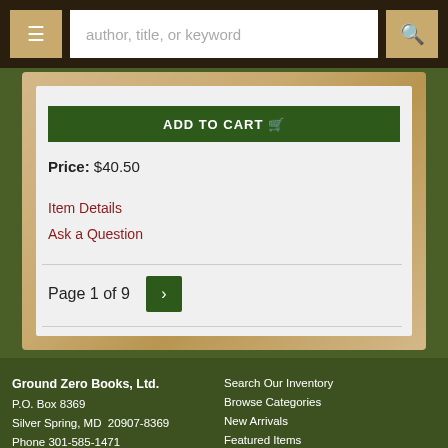[Figure (screenshot): Navigation bar with hamburger menu button, search input field reading 'author, title, or keyword', and search button]
[Figure (screenshot): Parchment-bordered content card with ADD TO CART button partially visible at top]
Price: $40.50
Item Details
Ask a Question
Page 1 of 9
Ground Zero Books, Ltd.
P.O. Box 8369
Silver Spring, MD  20907-8369
Phone 301-585-1471
info@groundzerobooksltd.com

Search Our Inventory
Browse Categories
New Arrivals
Featured Items
Leave a Want